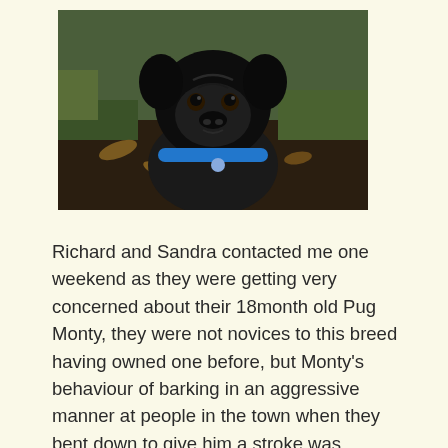[Figure (photo): A black pug dog wearing a blue collar and tag, sitting on grass and fallen leaves outdoors, looking up at the camera.]
Richard and Sandra contacted me one weekend as they were getting very concerned about their 18month old Pug Monty, they were not novices to this breed having owned one before, but Monty's behaviour of barking in an aggressive manner at people in the town when they bent down to give him a stroke was starting to cause a bit of concern to them. Monty seemed to be happy when he was being stroked, but the minute the person took their hand away and went to move off, he seemed to have a bit